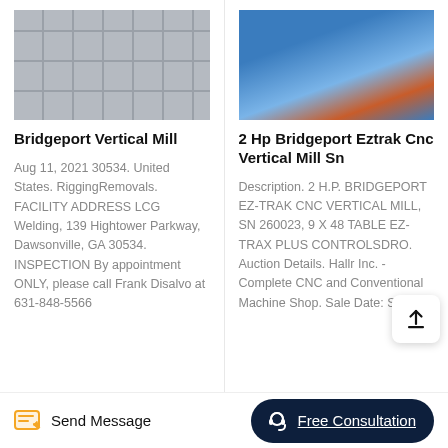[Figure (photo): White modular shelving unit in a facility]
Bridgeport Vertical Mill
Aug 11, 2021 30534. United States. RiggingRemovals. FACILITY ADDRESS LCG Welding, 139 Hightower Parkway, Dawsonville, GA 30534. INSPECTION By appointment ONLY, please call Frank Disalvo at 631-848-5566
[Figure (photo): Blue industrial drums/machines in a warehouse]
2 Hp Bridgeport Eztrak Cnc Vertical Mill Sn
Description. 2 H.P. BRIDGEPORT EZ-TRAK CNC VERTICAL MILL, SN 260023, 9 X 48 TABLE EZ-TRAX PLUS CONTROLSDRO. Auction Details. Hallr Inc. - Complete CNC and Conventional Machine Shop. Sale Date: S
Send Message
Free Consultation